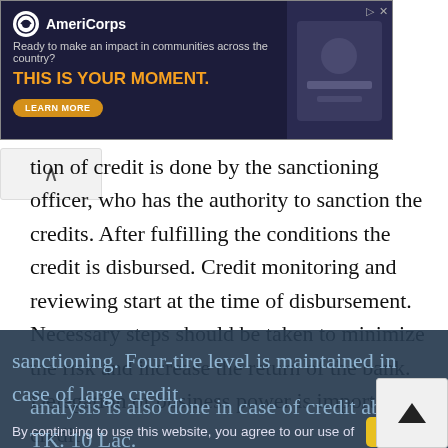[Figure (other): AmeriCorps advertisement banner: 'Ready to make an impact in communities across the country? THIS IS YOUR MOMENT. LEARN MORE']
tion of credit is done by the sanctioning officer, who has the authority to sanction the credits. After fulfilling the conditions the credit is disbursed. Credit monitoring and reviewing start at the time of disbursement. Necessary steps should be taken to minimize the risk and increase the return of the bank. Delegation of business power is important in credit sanctioning. Four-tire level is maintained in case of large credit. ...analysis is also done in case of credit above TK. 10 Lac.
By continuing to use this website, you agree to our use of Cookies.